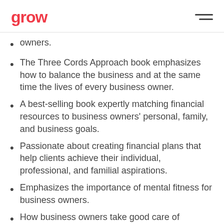grow
owners.
The Three Cords Approach book emphasizes how to balance the business and at the same time the lives of every business owner.
A best-selling book expertly matching financial resources to business owners' personal, family, and business goals.
Passionate about creating financial plans that help clients achieve their individual, professional, and familial aspirations.
Emphasizes the importance of mental fitness for business owners.
How business owners take good care of themselves achieves a higher success rate